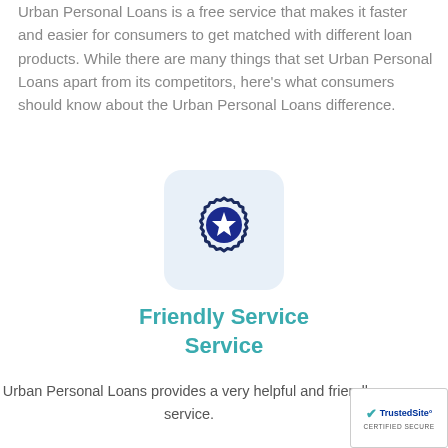Urban Personal Loans is a free service that makes it faster and easier for consumers to get matched with different loan products. While there are many things that set Urban Personal Loans apart from its competitors, here's what consumers should know about the Urban Personal Loans difference.
[Figure (illustration): A badge/gear icon with a dark navy blue circular center containing a white star, surrounded by a gear/cog outline, on a light blue rounded-rectangle background]
Friendly Service Service
Urban Personal Loans provides a very helpful and friendly service.